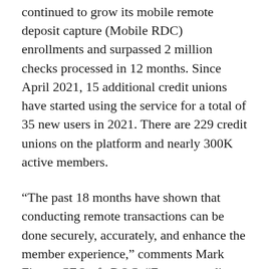continued to grow its mobile remote deposit capture (Mobile RDC) enrollments and surpassed 2 million checks processed in 12 months. Since April 2021, 15 additional credit unions have started using the service for a total of 35 new users in 2021. There are 229 credit unions on the platform and nearly 300K active members.
“The past 18 months have shown that conducting remote transactions can be done securely, accurately, and enhance the member experience,” comments Mark Fierro, CEO of eDOC. “Even as credit unions across the country reopen for in-person service, we have not seen a decline in mobile deposit volume; we have seen the opposite. Once members and credit unions started to use the technology, they embraced it and will not return to their old habits. eDOC believes that every credit union should have this technology available to serve their current and future members. Mobile Remote Deposit has not been from the enrollment of